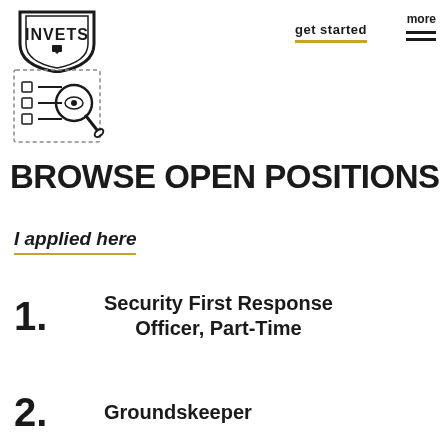[Figure (logo): INVETS logo — shield shape with text INVETS and a small emblem below]
[Figure (other): get started button with gold underline]
[Figure (other): more menu icon with hamburger lines]
[Figure (illustration): Browse open positions icon — checklist with magnifying glass and eye]
BROWSE OPEN POSITIONS
I applied here
1. Security First Response Officer, Part-Time
2. Groundskeeper